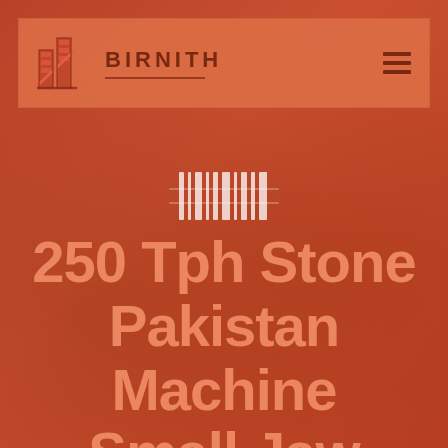[Figure (logo): Birnith company logo with building/construction icon and brand name BIRNITH with hamburger menu icon, displayed in a header bar]
250 Tph Stone Pakistan Machine Small Jaw